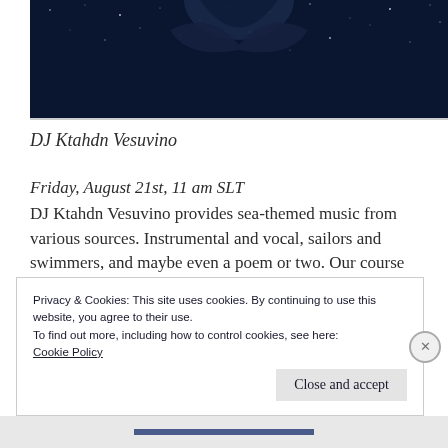[Figure (photo): Dark night sky background image with stars, partially visible figure at top]
DJ Ktahdn Vesuvino
Friday, August 21st, 11 am SLT
DJ Ktahdn Vesuvino provides sea-themed music from various sources. Instrumental and vocal, sailors and swimmers, and maybe even a poem or two. Our course will be adjusted on the fly, as we dance.
Privacy & Cookies: This site uses cookies. By continuing to use this website, you agree to their use.
To find out more, including how to control cookies, see here:
Cookie Policy
Close and accept